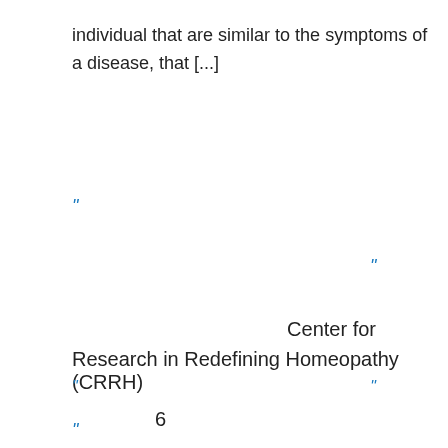individual that are similar to the symptoms of a disease, that [...]
“
“-
“
Center for Research in Redefining Homeopathy (CRRH)
“ ”
6